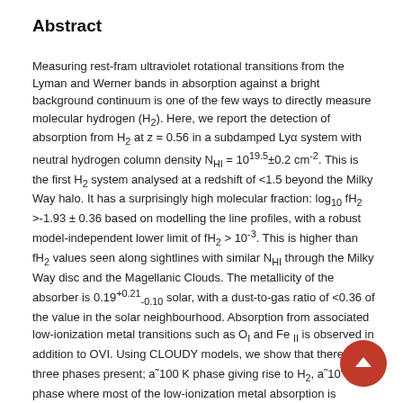Abstract
Measuring rest-fram ultraviolet rotational transitions from the Lyman and Werner bands in absorption against a bright background continuum is one of the few ways to directly measure molecular hydrogen (H₂). Here, we report the detection of absorption from H₂ at z = 0.56 in a subdamped Lyα system with neutral hydrogen column density N_HI = 10^{19.5}±0.2 cm⁻². This is the first H₂ system analysed at a redshift of <1.5 beyond the Milky Way halo. It has a surprisingly high molecular fraction: log₁₀ fH₂ >-1.93 ± 0.36 based on modelling the line profiles, with a robust model-independent lower limit of fH₂ > 10⁻³. This is higher than fH₂ values seen along sightlines with similar N_HI through the Milky Way disc and the Magellanic Clouds. The metallicity of the absorber is 0.19^{+0.21}_{-0.10} solar, with a dust-to-gas ratio of <0.36 of the value in the solar neighbourhood. Absorption from associated low-ionization metal transitions such as O_I and Fe_II is observed in addition to OVI. Using CLOUDY models, we show that there are three phases present; a˜100 K phase giving rise to H₂, a˜10⁴ K phase where most of the low-ionization metal absorption is produced; and a hotter phase associated with OVI. Based on similarities to